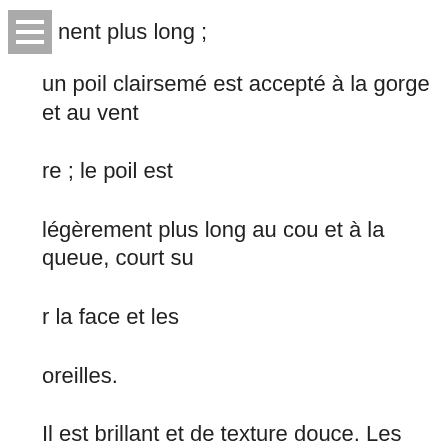nent plus long ;
un poil clairsemé est accepté à la gorge et au vent
re ; le poil est
légèrement plus long au cou et à la queue, court su
r la face et les
oreilles.
Il est brillant et de texture douce. Les chiens nu
s ne sont pas